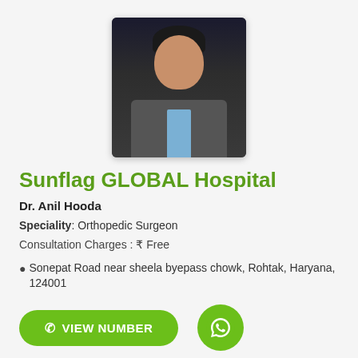[Figure (photo): Doctor profile photo of Dr. Anil Hooda in a suit]
Sunflag GLOBAL Hospital
Dr. Anil Hooda
Speciality: Orthopedic Surgeon
Consultation Charges : ₹ Free
Sonepat Road near sheela byepass chowk, Rohtak, Haryana, 124001
VIEW NUMBER